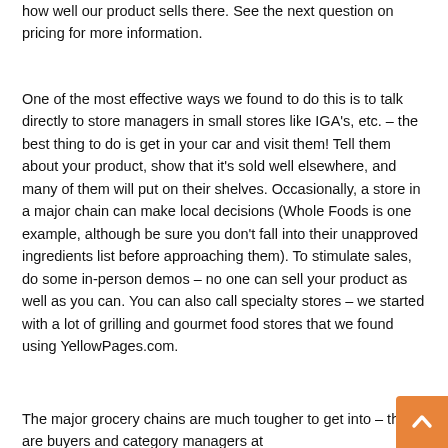how well our product sells there. See the next question on pricing for more information.
One of the most effective ways we found to do this is to talk directly to store managers in small stores like IGA's, etc. – the best thing to do is get in your car and visit them! Tell them about your product, show that it's sold well elsewhere, and many of them will put on their shelves. Occasionally, a store in a major chain can make local decisions (Whole Foods is one example, although be sure you don't fall into their unapproved ingredients list before approaching them). To stimulate sales, do some in-person demos – no one can sell your product as well as you can. You can also call specialty stores – we started with a lot of grilling and gourmet food stores that we found using YellowPages.com.
The major grocery chains are much tougher to get into – there are buyers and category managers at